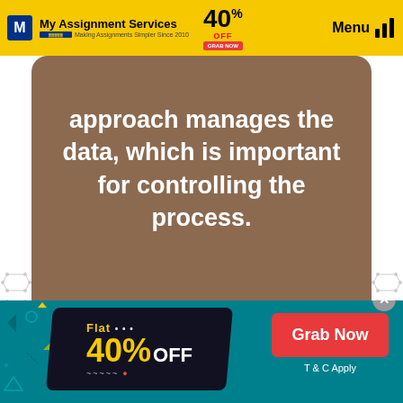My Assignment Services — Making Assignments Simpler Since 2010 | 40% OFF | Menu
approach manages the data, which is important for controlling the process.
[Figure (logo): My Assignment Services logo with tagline Making Assignments Simpler Since 2010]
We Will Help You Overcome Your Complexities in Writing Information-Intensive Computing Assignments
[Figure (infographic): Teal promotional banner with Flat 40% OFF badge and Grab Now button and T & C Apply text]